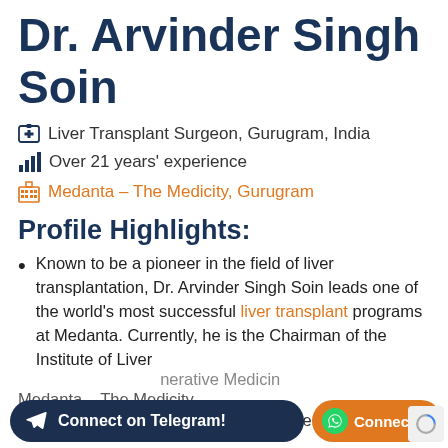Dr. Arvinder Singh Soin
Liver Transplant Surgeon, Gurugram, India
Over 21 years' experience
Medanta – The Medicity, Gurugram
Profile Highlights:
Known to be a pioneer in the field of liver transplantation, Dr. Arvinder Singh Soin leads one of the world's most successful liver transplant programs at Medanta. Currently, he is the Chairman of the Institute of Liver [Regenerative Medicine] at Medanta – The Medicity, Gurugram.
Quite renowned for having a 95 percent
Connect on Telegram!
Connect on Whatsapp!